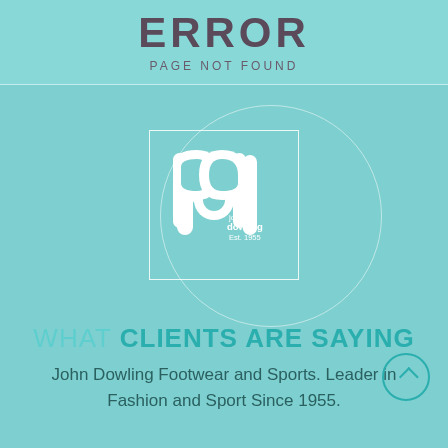ERROR
PAGE NOT FOUND
[Figure (logo): John Dowling Footwear and Sports logo — white stylized 'pd' monogram inside a white-bordered square, with text 'john dowling Est. 1955' on teal background. Surrounded by a partial circle arc.]
WHAT CLIENTS ARE SAYING
John Dowling Footwear and Sports. Leader in Fashion and Sport Since 1955.